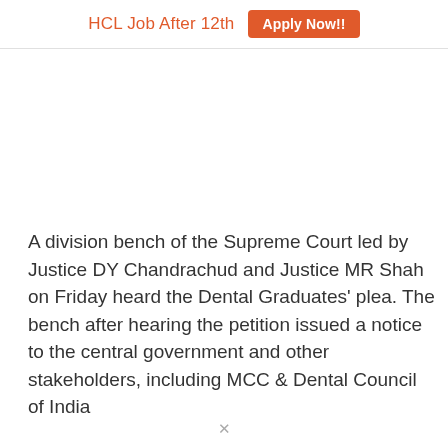HCL Job After 12th  Apply Now!!
A division bench of the Supreme Court led by Justice DY Chandrachud and Justice MR Shah on Friday heard the Dental Graduates' plea. The bench after hearing the petition issued a notice to the central government and other stakeholders, including MCC & Dental Council of India